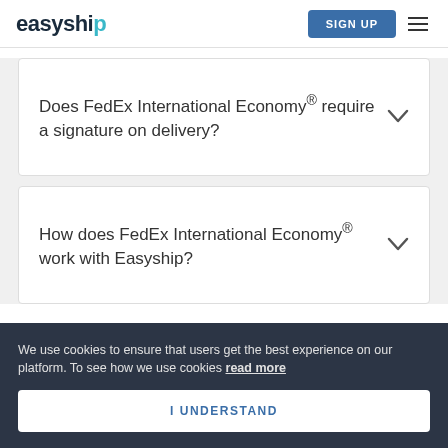easyship | SIGN UP
Does FedEx International Economy® require a signature on delivery?
How does FedEx International Economy® work with Easyship?
We use cookies to ensure that users get the best experience on our platform. To see how we use cookies read more
I UNDERSTAND